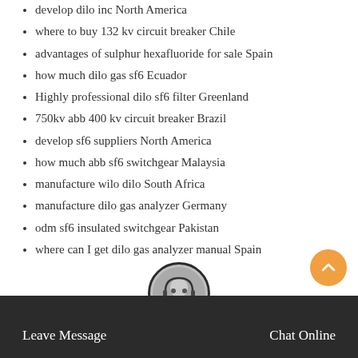develop dilo inc North America
where to buy 132 kv circuit breaker Chile
advantages of sulphur hexafluoride for sale Spain
how much dilo gas sf6 Ecuador
Highly professional dilo sf6 filter Greenland
750kv abb 400 kv circuit breaker Brazil
develop sf6 suppliers North America
how much abb sf6 switchgear Malaysia
manufacture wilo dilo South Africa
manufacture dilo gas analyzer Germany
odm sf6 insulated switchgear Pakistan
where can I get dilo gas analyzer manual Spain
Leave Message    Chat Online